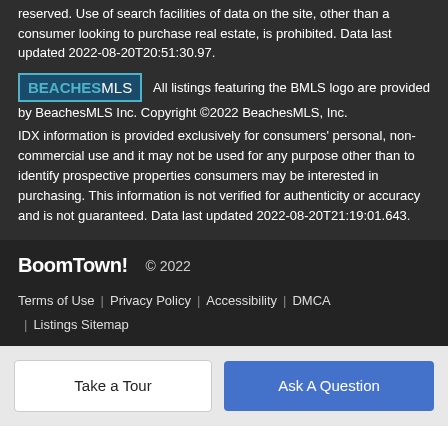reserved. Use of search facilities of data on the site, other than a consumer looking to purchase real estate, is prohibited. Data last updated 2022-08-20T20:51:30.97.
All listings featuring the BMLS logo are provided by BeachesMLS Inc. Copyright ©2022 BeachesMLS, Inc. IDX information is provided exclusively for consumers' personal, non-commercial use and it may not be used for any purpose other than to identify prospective properties consumers may be interested in purchasing. This information is not verified for authenticity or accuracy and is not guaranteed. Data last updated 2022-08-20T21:19:01.643.
BoomTown! © 2022 Terms of Use | Privacy Policy | Accessibility | DMCA | Listings Sitemap
Take a Tour
Ask A Question